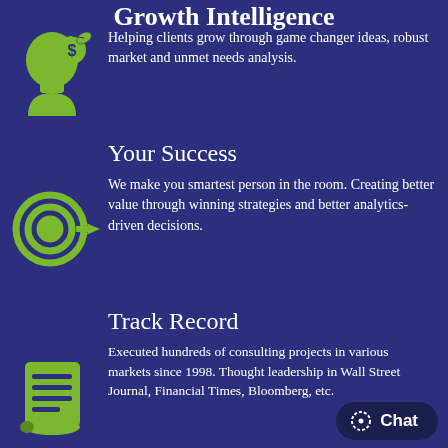Growth Intelligence
[Figure (illustration): Green icon of a human head silhouette with a dollar coin and plant/growth symbol]
Helping clients grow through game changer ideas, robust market and unmet needs analysis.
Your Success
[Figure (illustration): Green icon of a target/bullseye with arrows pointing inward]
We make you smartest person in the room. Creating better value through winning strategies and better analytics-driven decisions.
Track Record
[Figure (illustration): Green icon of a scroll/document with lines of text]
Executed hundreds of consulting projects in various markets since 1998. Thought leadership in Wall Street Journal, Financial Times, Bloomberg, etc.